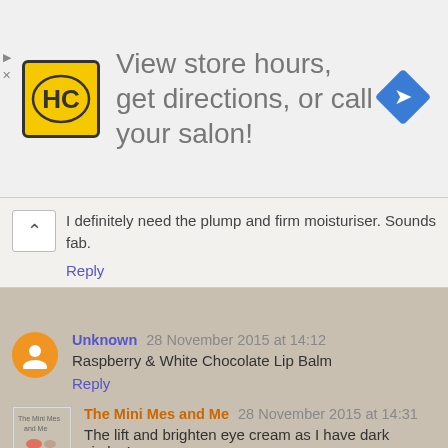[Figure (screenshot): Advertisement banner: HC salon logo, text 'View store hours, get directions, or call your salon!', blue navigation arrow icon]
I definitely need the plump and firm moisturiser. Sounds fab.
Reply
Unknown 28 November 2015 at 14:12
Raspberry & White Chocolate Lip Balm
Reply
The Mini Mes and Me 28 November 2015 at 14:31
The lift and brighten eye cream as I have dark circles!
Reply